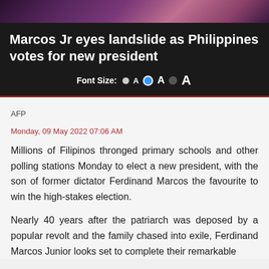[Figure (photo): Top strip showing a partial photo, likely of people at an event, dark tones with pink/purple hues]
Marcos Jr eyes landslide as Philippines votes for new president
Font Size: ● A ○ A ● A
AFP
Monday, 09 May 2022 07:06 AM
Millions of Filipinos thronged primary schools and other polling stations Monday to elect a new president, with the son of former dictator Ferdinand Marcos the favourite to win the high-stakes election.
Nearly 40 years after the patriarch was deposed by a popular revolt and the family chased into exile, Ferdinand Marcos Junior looks set to complete their remarkable